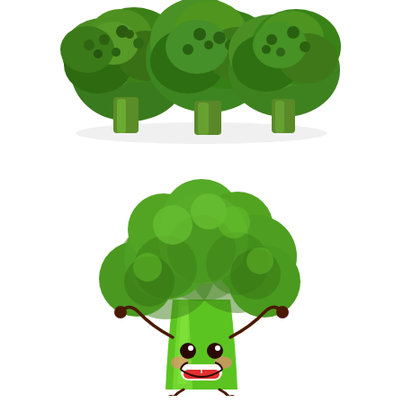[Figure (photo): Photo of real broccoli florets arranged on a white background, viewed from above/side angle showing dark green textured tops.]
[Figure (illustration): Cute kawaii cartoon illustration of a broccoli character with a bright green stem, darker green rounded floret top, big brown eyes, rosy red cheeks, a smiling open mouth showing white teeth, and small stick arms/legs with round hands/feet.]